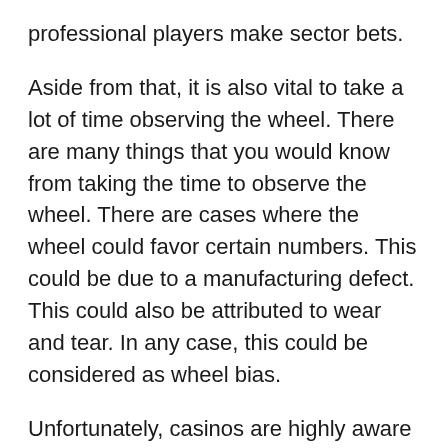professional players make sector bets.
Aside from that, it is also vital to take a lot of time observing the wheel. There are many things that you would know from taking the time to observe the wheel. There are cases where the wheel could favor certain numbers. This could be due to a manufacturing defect. This could also be attributed to wear and tear. In any case, this could be considered as wheel bias.
Unfortunately, casinos are highly aware that there are professional players who use computers to detect the winning numbers on the wheel. This is also the reason why the dealer would call “no more bets”. This is one of the ways that a casino could protect itself from professional players. When they suspect that a professional player is betting, the dealer could call “no more bets” earlier so that it would be harder to predict the winning numbers accurately.